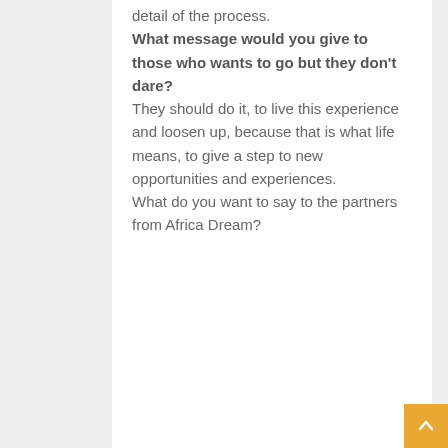detail of the process.
What message would you give to those who wants to go but they don't dare?
They should do it, to live this experience and loosen up, because that is what life means, to give a step to new opportunities and experiences.
What do you want to say to the partners from Africa Dream?